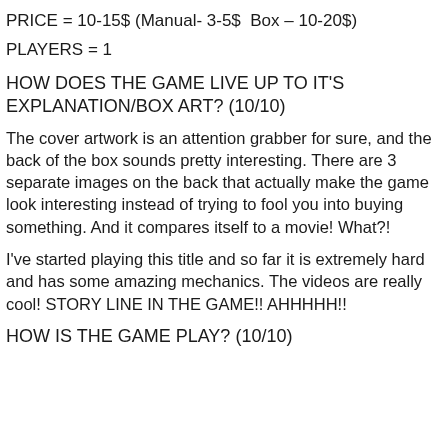PRICE = 10-15$ (Manual- 3-5$  Box – 10-20$)
PLAYERS = 1
HOW DOES THE GAME LIVE UP TO IT'S EXPLANATION/BOX ART? (10/10)
The cover artwork is an attention grabber for sure, and the back of the box sounds pretty interesting. There are 3 separate images on the back that actually make the game look interesting instead of trying to fool you into buying something. And it compares itself to a movie! What?!
I've started playing this title and so far it is extremely hard and has some amazing mechanics. The videos are really cool! STORY LINE IN THE GAME!! AHHHHH!!
HOW IS THE GAME PLAY? (10/10)